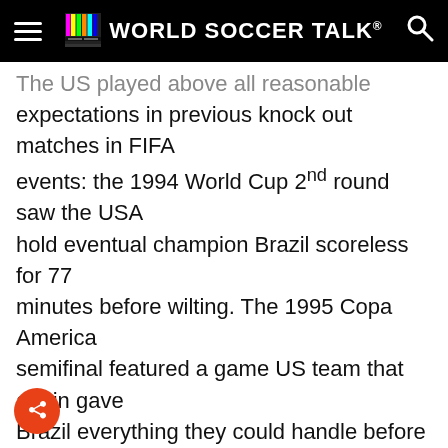World Soccer Talk
The US played above all reasonable expectations in previous knock out matches in FIFA events: the 1994 World Cup 2nd round saw the USA hold eventual champion Brazil scoreless for 77 minutes before wilting. The 1995 Copa America semifinal featured a game US team that again gave Brazil everything they could handle before finally succumbing 1-0. In the 1999 Confederations Cup semifinal the USA held Mexico scoreless at Azteca for 97 minutes before giving up a Golden Goal to Cuauhtémoc Blanco. The US beat Mexico in the 2002 World Cup second round and then outplayed eventual finalist Germany in an unlucky 1-0 Quarterfinal loss.